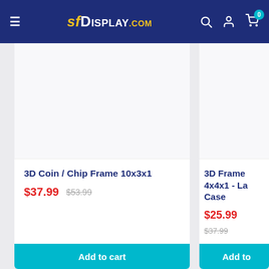SFDisplay.com — Navigation header with hamburger menu, logo, search, account, and cart icons
3D Coin / Chip Frame 10x3x1
$37.99  $53.99
Add to cart
3D Frame 4x4x1 - La… Case
$25.99  $37.99
Add to